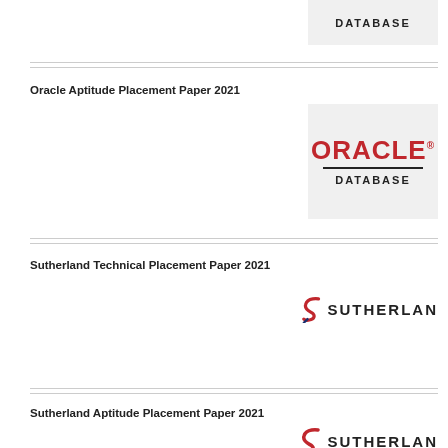[Figure (logo): Oracle Database logo (partial, showing DATABASE text) — top of page, cropped from previous section]
Oracle Aptitude Placement Paper 2021
[Figure (logo): Oracle Database logo with red ORACLE text, horizontal rule, and DATABASE label on grey background]
Sutherland Technical Placement Paper 2021
[Figure (logo): Sutherland logo with stylized S and bold SUTHERLAN text]
Sutherland Aptitude Placement Paper 2021
[Figure (logo): Sutherland logo with stylized S and bold SUTHERLAN text]